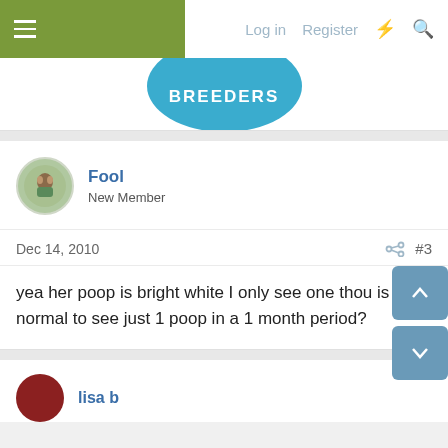Log in  Register
[Figure (logo): Circular blue logo with text BREEDERS in white bold letters]
Fool
New Member
Dec 14, 2010  #3
yea her poop is bright white I only see one thou is it normal to see just 1 poop in a 1 month period?
lisa b